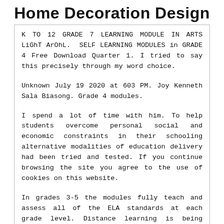Home Decoration Design
K TO 12 GRADE 7 LEARNING MODULE IN ARTS LiGhT ArOhL. SELF LEARNING MODULES in GRADE 4 Free Download Quarter 1. I tried to say this precisely through my word choice.
Unknown July 19 2020 at 603 PM. Joy Kenneth Sala Biasong. Grade 4 modules.
I spend a lot of time with him. To help students overcome personal social and economic constraints in their schooling alternative modalities of education delivery had been tried and tested. If you continue browsing the site you agree to the use of cookies on this website.
In grades 3-5 the modules fully teach and assess all of the ELA standards at each grade level. Distance learning is being implemented for the whole school year considering the health risks brought by the current pandemic. This page will help and assist you to find and DOWNLOAD the